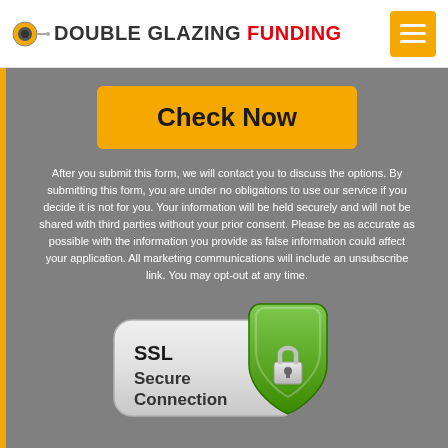DOUBLE GLAZING FUNDING
Check Now
After you submit this form, we will contact you to discuss the options. By submitting this form, you are under no obligations to use our service if you decide it is not for you. Your information will be held securely and will not be shared with third parties without your prior consent. Please be as accurate as possible with the information you provide as false information could affect your application. All marketing communications will include an unsubscribe link. You may opt-out at any time.
[Figure (logo): SSL Secure Connection badge with green shield and padlock icon]